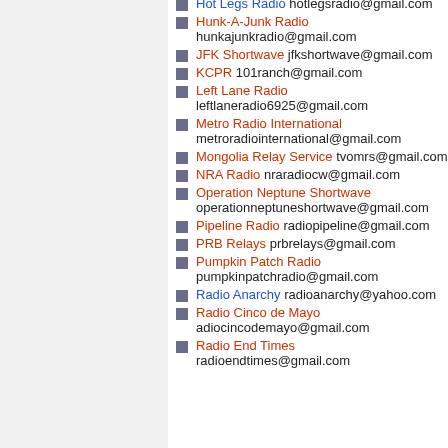Hot Legs Radio hotlegsradio@gmail.com
Hunk-A-Junk Radio hunkajunkradio@gmail.com
JFK Shortwave jfkshortwave@gmail.com
KCPR 101ranch@gmail.com
Left Lane Radio leftlaneradio6925@gmail.com
Metro Radio International metroradiointernational@gmail.com
Mongolia Relay Service tvomrs@gmail.com
NRA Radio nraradiocw@gmail.com
Operation Neptune Shortwave operationneptuneshortwave@gmail.com
Pipeline Radio radiopipeline@gmail.com
PRB Relays prbrelays@gmail.com
Pumpkin Patch Radio pumpkinpatchradio@gmail.com
Radio Anarchy radioanarchy@yahoo.com
Radio Cinco de Mayo adiocincodemayo@gmail.com
Radio End Times radioendtimes@gmail.com